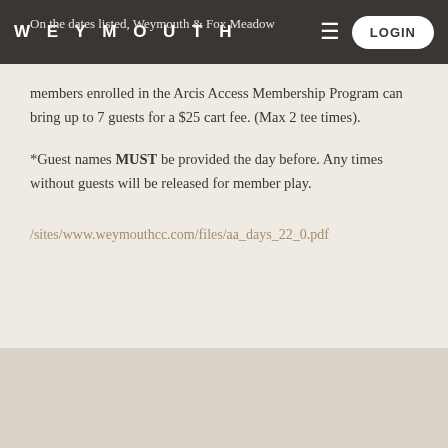WEYMOUTH
On the dates listed, Weymouth & Fox Meadow members enrolled in the Arcis Access Membership Program can bring up to 7 guests for a $25 cart fee. (Max 2 tee times).
*Guest names MUST be provided the day before. Any times without guests will be released for member play.
/sites/www.weymouthcc.com/files/aa_days_22_0.pdf